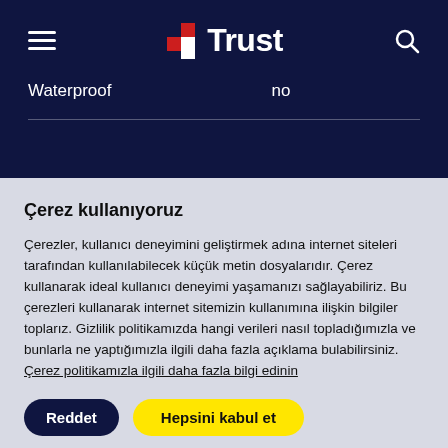Trust — navigation header with logo, hamburger menu, and search icon
Waterproof   no
Çerez kullanıyoruz
Çerezler, kullanıcı deneyimini geliştirmek adına internet siteleri tarafından kullanılabilecek küçük metin dosyalarıdır. Çerez kullanarak ideal kullanıcı deneyimi yaşamanızı sağlayabiliriz. Bu çerezleri kullanarak internet sitemizin kullanımına ilişkin bilgiler toplarız. Gizlilik politikamızda hangi verileri nasıl topladığımızla ve bunlarla ne yaptığımızla ilgili daha fazla açıklama bulabilirsiniz. Çerez politikamızla ilgili daha fazla bilgi edinin
Reddet | Hepsini kabul et
çerez ayarları